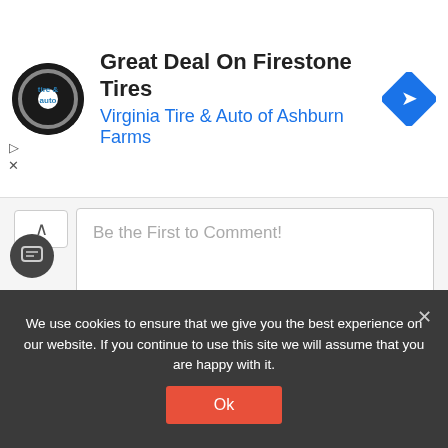[Figure (screenshot): Advertisement banner for Virginia Tire & Auto of Ashburn Farms with Firestone Tires deal. Contains business logo (circular black tire & auto logo), ad title, subtitle, and a blue diamond navigation icon.]
Be the First to Comment!
0 COMMENTS
[Figure (screenshot): Comment section with tab icons (lightning bolt in yellow, flame in red-orange) below a green divider line, with tab underlines.]
We use cookies to ensure that we give you the best experience on our website. If you continue to use this site we will assume that you are happy with it.
Ok